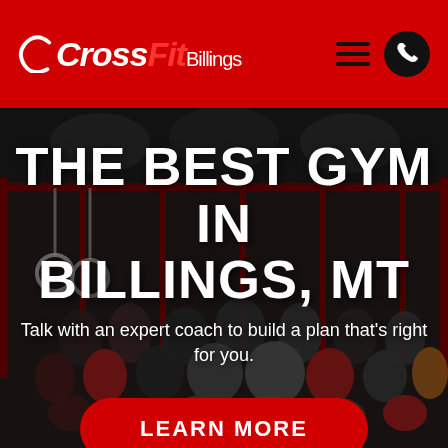[Figure (logo): CrossFit Billings logo in white and red on red header bar, with hamburger menu icon and phone icon on the right]
[Figure (photo): Group photo of CrossFit Billings gym members posing together in a gym setting with dark background, equipment visible]
THE BEST GYM IN BILLINGS, MT
Talk with an expert coach to build a plan that's right for you.
LEARN MORE